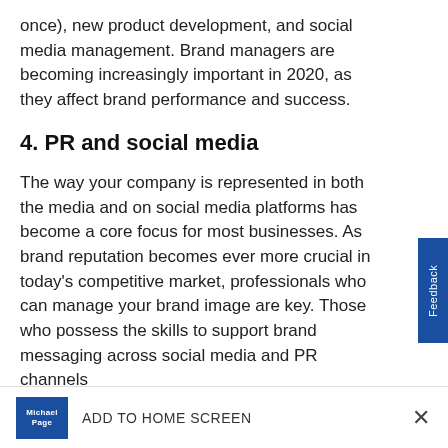once), new product development, and social media management. Brand managers are becoming increasingly important in 2020, as they affect brand performance and success.
4. PR and social media
The way your company is represented in both the media and on social media platforms has become a core focus for most businesses. As brand reputation becomes ever more crucial in today's competitive market, professionals who can manage your brand image are key. Those who possess the skills to support brand messaging across social media and PR channels
ADD TO HOME SCREEN